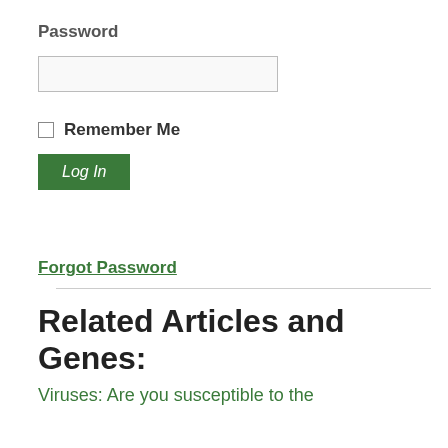Password
[Figure (screenshot): Password input text field, empty, with grey border]
Remember Me
Log In
Forgot Password
Related Articles and Genes:
Viruses: Are you susceptible to the